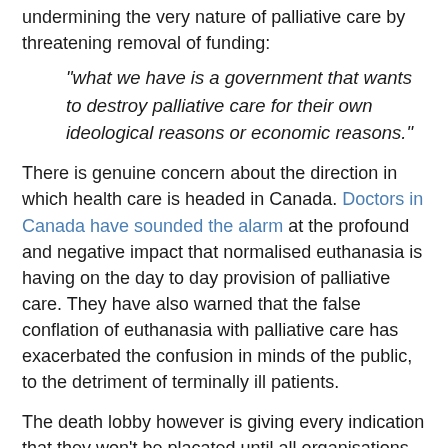undermining the very nature of palliative care by threatening removal of funding:
“what we have is a government that wants to destroy palliative care for their own ideological reasons or economic reasons.”
There is genuine concern about the direction in which health care is headed in Canada. Doctors in Canada have sounded the alarm at the profound and negative impact that normalised euthanasia is having on the day to day provision of palliative care. They have also warned that the false conflation of euthanasia with palliative care has exacerbated the confusion in minds of the public, to the detriment of terminally ill patients.
The death lobby however is giving every indication that they won’t be placated until all organisations and all medical professionals are forced to provide euthanasia on demand.